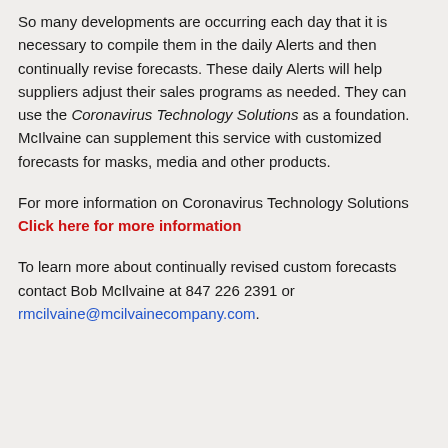So many developments are occurring each day that it is necessary to compile them in the daily Alerts and then continually revise forecasts. These daily Alerts will help suppliers adjust their sales programs as needed. They can use the Coronavirus Technology Solutions as a foundation.  McIlvaine can supplement this service with customized forecasts for masks, media and other products.
For more information on Coronavirus Technology Solutions  Click here for more information
To learn more about continually revised custom forecasts contact Bob McIlvaine at 847 226 2391 or rmcilvaine@mcilvainecompany.com.